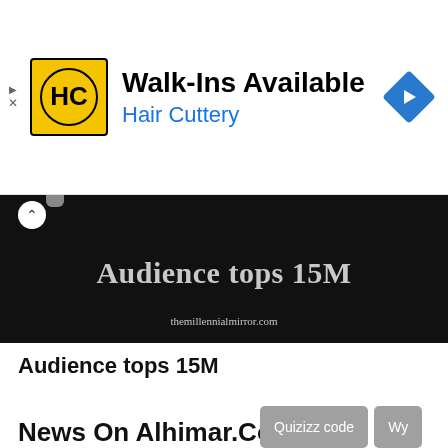[Figure (screenshot): Hair Cuttery advertisement banner with logo, 'Walk-Ins Available' text, and navigation icon]
[Figure (photo): Dark/black background image with bold gray text reading 'Audience tops 15M' and website URL 'themillennialmirror.com' at the bottom]
Audience tops 15M
News On Alhimar.Com